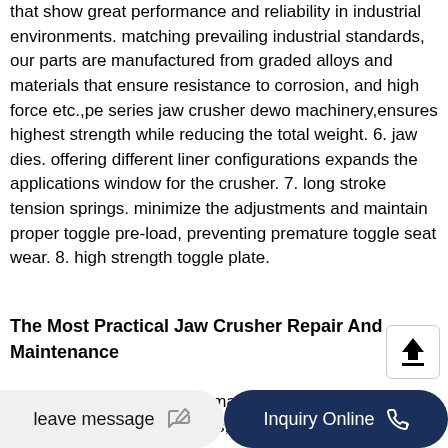that show great performance and reliability in industrial environments. matching prevailing industrial standards, our parts are manufactured from graded alloys and materials that ensure resistance to corrosion, and high force etc.,pe series jaw crusher dewo machinery,ensures highest strength while reducing the total weight. 6. jaw dies. offering different liner configurations expands the applications window for the crusher. 7. long stroke tension springs. minimize the adjustments and maintain proper toggle pre-load, preventing premature toggle seat wear. 8. high strength toggle plate.
The Most Practical Jaw Crusher Repair And Maintenance
aug 28, 2021 although the main crushing process is complemented by jaw plates, the crucial parts that give a m... p... to push stone material towards...